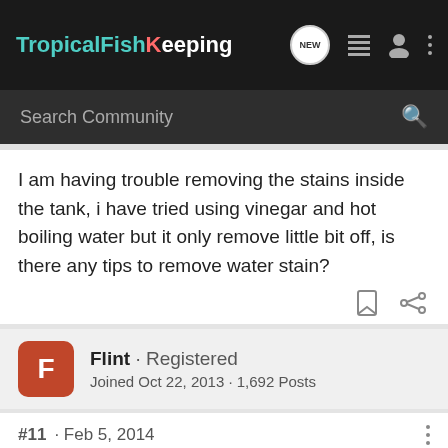TropicalFishKeeping
Search Community
I am having trouble removing the stains inside the tank, i have tried using vinegar and hot boiling water but it only remove little bit off, is there any tips to remove water stain?
Flint · Registered
Joined Oct 22, 2013 · 1,692 Posts
#11 · Feb 5, 2014
Razor blade will remove the water stains.
Cycling is the process of colonizing the beneficial bacteria we